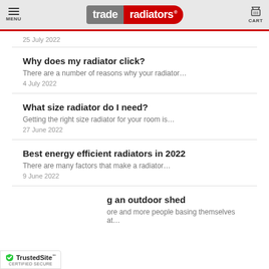trade radiators — MENU | CART
25 July 2022
Why does my radiator click?
There are a number of reasons why your radiator...
4 July 2022
What size radiator do I need?
Getting the right size radiator for your room is...
27 June 2022
Best energy efficient radiators in 2022
There are many factors that make a radiator...
9 June 2022
...g an outdoor shed
...ore and more people basing themselves at...